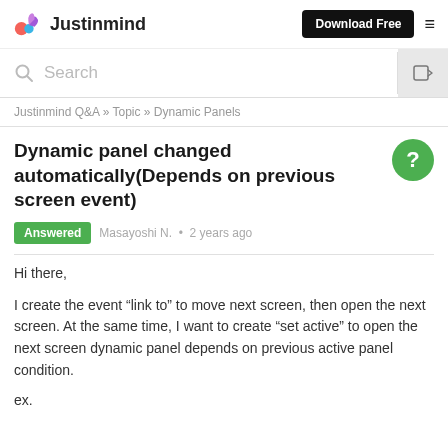Justinmind | Download Free
Search
Justinmind Q&A » Topic » Dynamic Panels
Dynamic panel changed automatically(Depends on previous screen event)
Answered  Masayoshi N.  •  2 years ago
Hi there,
I create the event "link to" to move next screen, then open the next screen. At the same time, I want to create "set active" to open the next screen dynamic panel depends on previous active panel condition.
ex.